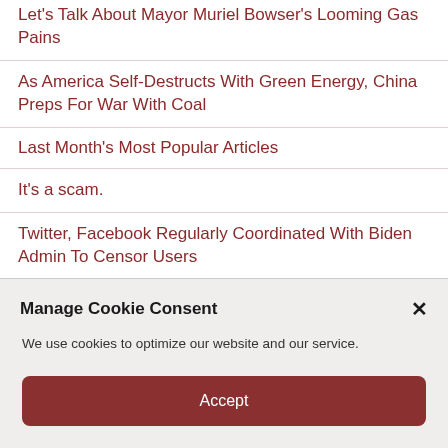Let's Talk About Mayor Muriel Bowser's Looming Gas Pains
As America Self-Destructs With Green Energy, China Preps For War With Coal
Last Month's Most Popular Articles
It's a scam.
Twitter, Facebook Regularly Coordinated With Biden Admin To Censor Users
RED ALERT! Globalist Deep State Prepping US for MASSIVE False Flag Attacks as Pretext for Martial Law, Permanent One-party Dictatorship
Manage Cookie Consent
We use cookies to optimize our website and our service.
Accept